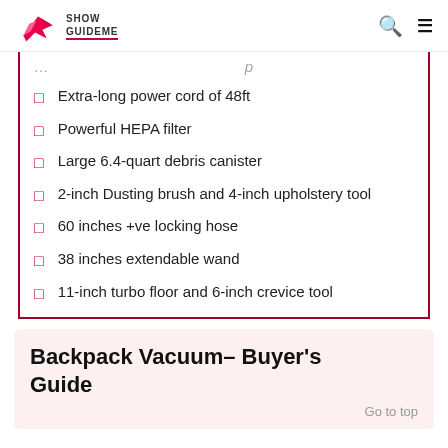Show GuideMe
Extra-long power cord of 48ft
Powerful HEPA filter
Large 6.4-quart debris canister
2-inch Dusting brush and 4-inch upholstery tool
60 inches +ve locking hose
38 inches extendable wand
11-inch turbo floor and 6-inch crevice tool
Backpack Vacuum– Buyer's Guide
Go to top